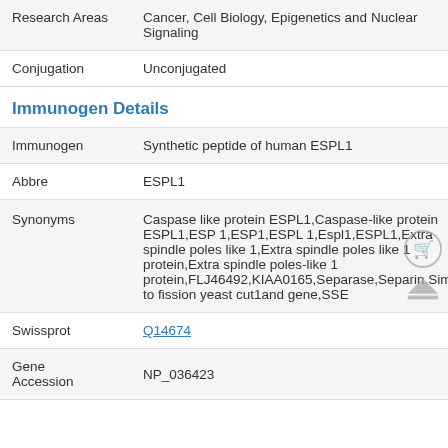| Research Areas | Cancer, Cell Biology, Epigenetics and Nuclear Signaling |
| Conjugation | Unconjugated |
Immunogen Details
| Immunogen | Synthetic peptide of human ESPL1 |
| Abbre | ESPL1 |
| Synonyms | Caspase like protein ESPL1,Caspase-like protein ESPL1,ESP 1,ESP1,ESPL 1,Espl1,ESPL1,Extra spindle poles like 1,Extra spindle poles like 1 protein,Extra spindle poles-like 1 protein,FLJ46492,KIAA0165,Separase,Separin,Similar to fission yeast cut1and gene,SSE |
| Swissprot | Q14674 |
| Gene Accession | NP_036423 |